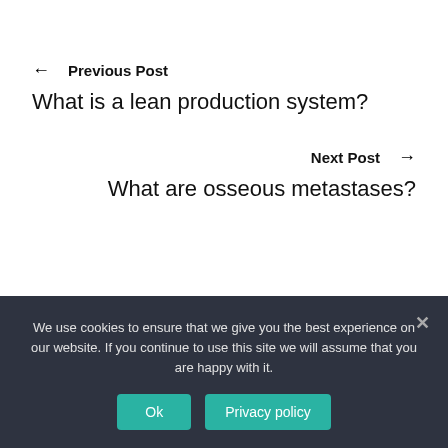← Previous Post
What is a lean production system?
Next Post →
What are osseous metastases?
We use cookies to ensure that we give you the best experience on our website. If you continue to use this site we will assume that you are happy with it.